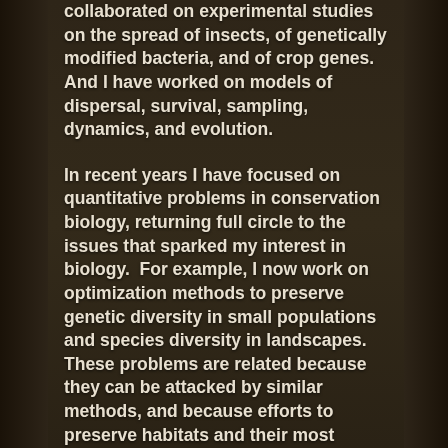collaborated on experimental studies on the spread of insects, of genetically modified bacteria, and of crop genes. And I have worked on models of dispersal, survival, sampling, dynamics, and evolution.
In recent years I have focused on quantitative problems in conservation biology, returning full circle to the issues that sparked my interest in biology. For example, I now work on optimization methods to preserve genetic diversity in small populations and species diversity in landscapes. These problems are related because they can be attacked by similar methods, and because efforts to preserve habitats and their most endangered inhabitants depend upon one another for success. My graduate students work on problems ranging